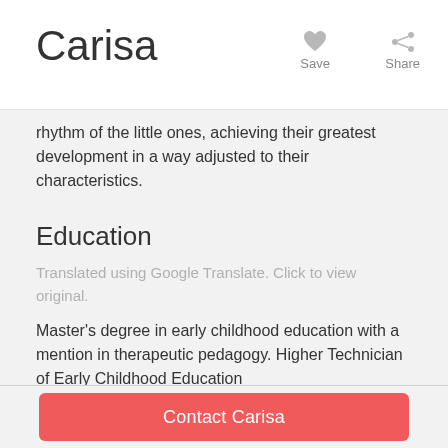Carisa  Save  Share
rhythm of the little ones, achieving their greatest development in a way adjusted to their characteristics.
Education
Translated using Google Translate. Click to view original.
Master's degree in early childhood education with a mention in therapeutic pedagogy. Higher Technician of Early Childhood Education
Complementary training with B2 of English, attention to Diversity and educational and literacy support courses
Experience / Qualifications
Contact Carisa